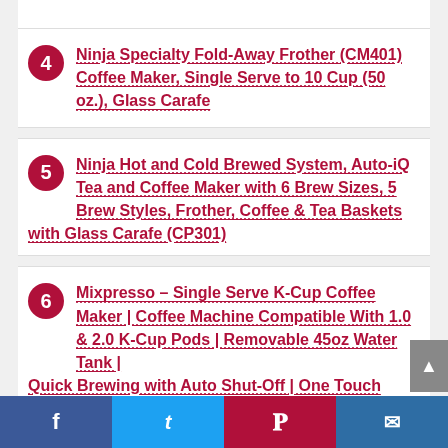4 Ninja Specialty Fold-Away Frother (CM401) Coffee Maker, Single Serve to 10 Cup (50 oz.), Glass Carafe
5 Ninja Hot and Cold Brewed System, Auto-iQ Tea and Coffee Maker with 6 Brew Sizes, 5 Brew Styles, Frother, Coffee & Tea Baskets with Glass Carafe (CP301)
6 Mixpresso – Single Serve K-Cup Coffee Maker | Coffee Machine Compatible With 1.0 & 2.0 K-Cup Pods | Removable 45oz Water Tank | Quick Brewing with Auto Shut-Off | One Touch Function |...
Facebook | Twitter | Pinterest | Email